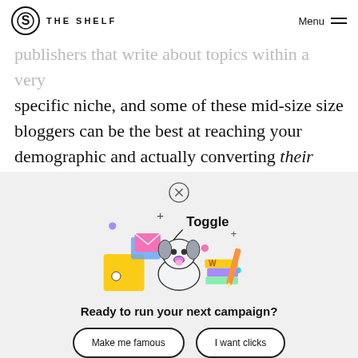THE SHELF  Menu
publishers that write about topics within a very specific niche, and some of these mid-size size bloggers can be the best at reaching your demographic and actually converting their readers
[Figure (illustration): Modal overlay with close X button, cartoon illustration of a dog surrounded by office items and the word Toggle, with two CTA buttons: Make me famous and I want clicks]
Ready to run your next campaign?
Make me famous
I want clicks